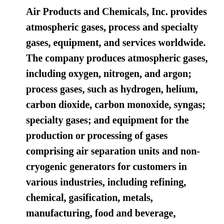Air Products and Chemicals, Inc. provides atmospheric gases, process and specialty gases, equipment, and services worldwide. The company produces atmospheric gases, including oxygen, nitrogen, and argon; process gases, such as hydrogen, helium, carbon dioxide, carbon monoxide, syngas; specialty gases; and equipment for the production or processing of gases comprising air separation units and non-cryogenic generators for customers in various industries, including refining, chemical, gasification, metals, manufacturing, food and beverage, electronics, magnetic resonance imaging, energy production and refining, and metals. It